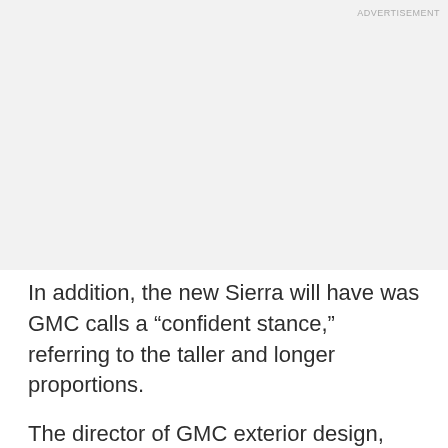[Figure (other): Advertisement placeholder area with light gray background]
ADVERTISEMENT
In addition, the new Sierra will have was GMC calls a “confident stance,” referring to the taller and longer proportions.
The director of GMC exterior design, Matt